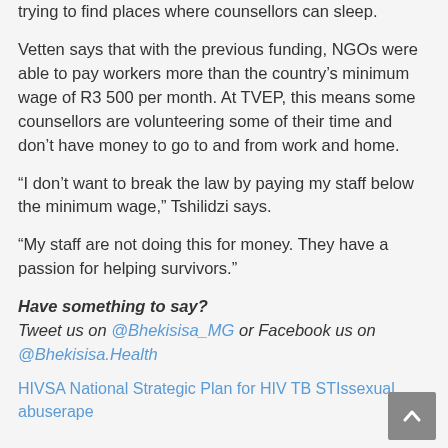trying to find places where counsellors can sleep.
Vetten says that with the previous funding, NGOs were able to pay workers more than the country’s minimum wage of R3 500 per month. At TVEP, this means some counsellors are volunteering some of their time and don’t have money to go to and from work and home.
“I don’t want to break the law by paying my staff below the minimum wage,” Tshilidzi says.
“My staff are not doing this for money. They have a passion for helping survivors.”
Have something to say?
Tweet us on @Bhekisisa_MG or Facebook us on @Bhekisisa.Health
HIVSA National Strategic Plan for HIV TB STIssexual abuserape